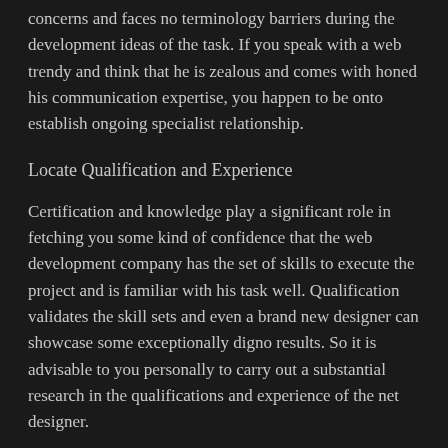concerns and faces no terminology barriers during the development ideas of the task. If you speak with a web trendy and think that he is zealous and comes with honed his communication expertise, you happen to be onto establish ongoing specialist relationship.
Locate Qualification and Experience
Certification and knowledge play a significant role in fetching you some kind of confidence that the web development company has the set of skills to execute the project and is familiar with his task well. Qualification validates the skill sets and even a brand new designer can showcase some exceptionally digno results. So it is advisable to you personally to carry out a substantial research in the qualifications and experience of the net designer.